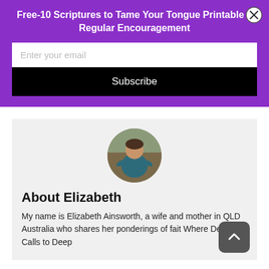Free-10 Scriptures to Tame Your Tongue Printable + Regular Encouragement
Enter your email
Subscribe
[Figure (photo): Circular profile photo of Elizabeth Ainsworth sitting outdoors]
About Elizabeth
My name is Elizabeth Ainsworth, a wife and mother in QLD Australia who shares her ponderings of faith at Where Deep Calls to Deep